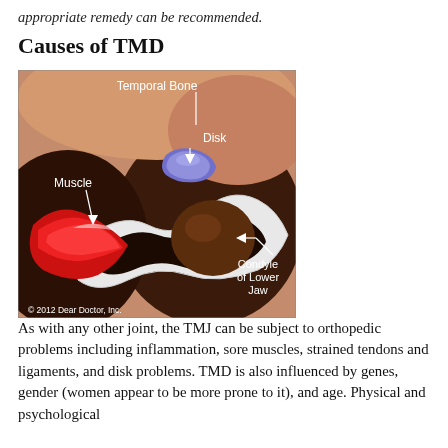appropriate remedy can be recommended.
Causes of TMD
[Figure (illustration): Medical illustration of the temporomandibular joint (TMJ) showing labeled anatomical structures: Temporal Bone (top), Muscle (left, red), Disk (upper center, blue/purple), and Condyle of Lower Jaw (right). The illustration shows a cross-section with white cartilage lining, dark joint space, and surrounding skin-toned tissue. Copyright 2012 Dear Doctor, Inc.]
As with any other joint, the TMJ can be subject to orthopedic problems including inflammation, sore muscles, strained tendons and ligaments, and disk problems. TMD is also influenced by genes, gender (women appear to be more prone to it), and age. Physical and psychological